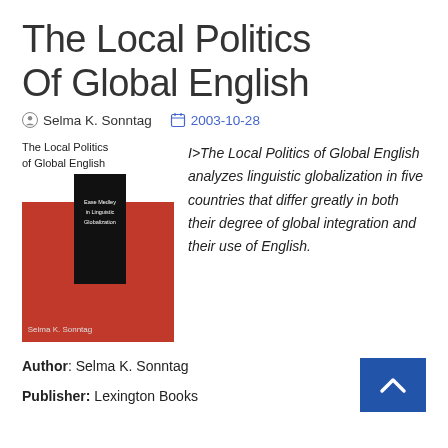The Local Politics Of Global English
Selma K. Sonntag   2003-10-28
[Figure (illustration): Book cover of 'The Local Politics of Global English' by Selma K. Sonntag — red background with black spine panel and white author name at bottom]
I>The Local Politics of Global English analyzes linguistic globalization in five countries that differ greatly in both their degree of global integration and their use of English.
Author: Selma K. Sonntag
Publisher: Lexington Books